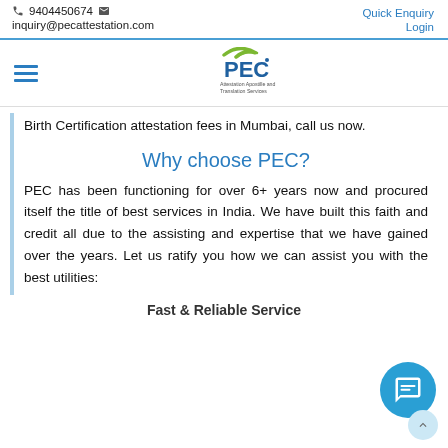9404450674  inquiry@pecattestation.com  Quick Enquiry  Login
[Figure (logo): PEC logo with tagline: Attestation Apostille and Translation Services, with green swoosh above PEC text]
Birth Certification attestation fees in Mumbai, call us now.
Why choose PEC?
PEC has been functioning for over 6+ years now and procured itself the title of best services in India. We have built this faith and credit all due to the assisting and expertise that we have gained over the years. Let us ratify you how we can assist you with the best utilities:
Fast & Reliable Service